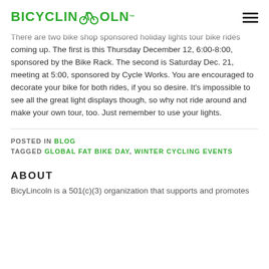BICYCLINCOLN
There are two bike shop sponsored holiday lights tour bike rides coming up. The first is this Thursday December 12, 6:00-8:00, sponsored by the Bike Rack. The second is Saturday Dec. 21, meeting at 5:00, sponsored by Cycle Works. You are encouraged to decorate your bike for both rides, if you so desire. It's impossible to see all the great light displays though, so why not ride around and make your own tour, too. Just remember to use your lights.
POSTED IN BLOG
TAGGED GLOBAL FAT BIKE DAY, WINTER CYCLING EVENTS
ABOUT
BicylLincoln is a 501(c)(3) organization that supports and promotes